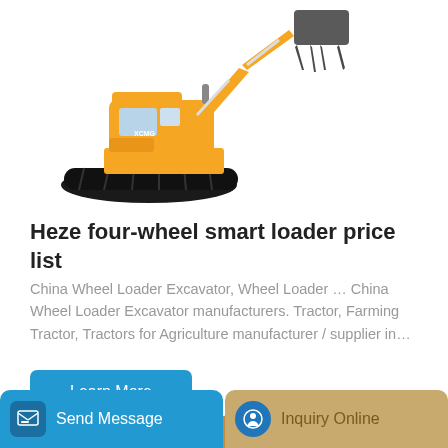[Figure (photo): Yellow tracked excavator with a grapple/grab attachment, viewed from the side-front angle]
Heze four-wheel smart loader price list
China Wheel Loader Excavator, Wheel Loader … China Wheel Loader Excavator manufacturers. Tractor, Farming Tractor, Tractors for Agriculture manufacturer / supplier in…
Learn More
[Figure (photo): Orange/tan wheeled loader with raised bucket arm, partial view]
Send Message   Inquiry Online